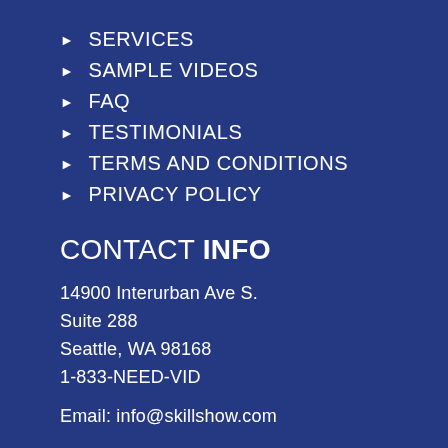SERVICES
SAMPLE VIDEOS
FAQ
TESTIMONIALS
TERMS AND CONDITIONS
PRIVACY POLICY
CONTACT INFO
14900 Interurban Ave S.
Suite 288
Seattle, WA 98168
1-833-NEED-VID
Email: info@skillshow.com